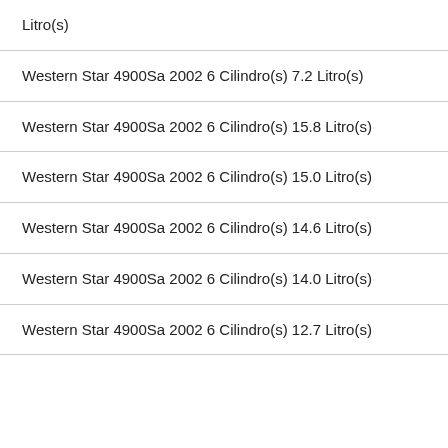Litro(s)
Western Star 4900Sa 2002 6 Cilindro(s) 7.2 Litro(s)
Western Star 4900Sa 2002 6 Cilindro(s) 15.8 Litro(s)
Western Star 4900Sa 2002 6 Cilindro(s) 15.0 Litro(s)
Western Star 4900Sa 2002 6 Cilindro(s) 14.6 Litro(s)
Western Star 4900Sa 2002 6 Cilindro(s) 14.0 Litro(s)
Western Star 4900Sa 2002 6 Cilindro(s) 12.7 Litro(s)